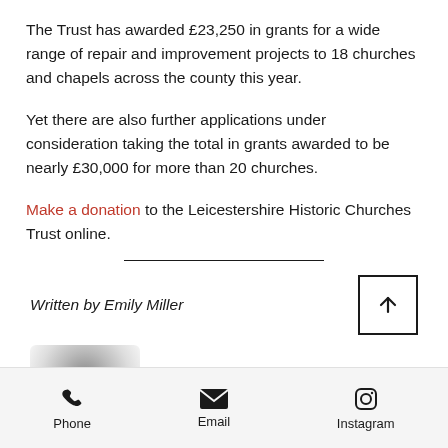The Trust has awarded £23,250 in grants for a wide range of repair and improvement projects to 18 churches and chapels across the county this year.
Yet there are also further applications under consideration taking the total in grants awarded to be nearly £30,000 for more than 20 churches.
Make a donation to the Leicestershire Historic Churches Trust online.
Written by Emily Miller
[Figure (photo): Partially visible avatar/profile image, blurred, at bottom left of content area]
Phone  Email  Instagram